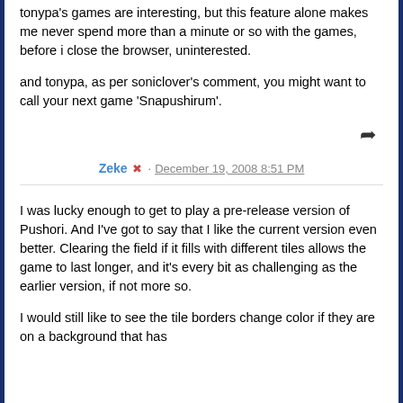tonypa's games are interesting, but this feature alone makes me never spend more than a minute or so with the games, before i close the browser, uninterested.
and tonypa, as per soniclover's comment, you might want to call your next game 'Snapushirum'.
Zeke · December 19, 2008 8:51 PM
I was lucky enough to get to play a pre-release version of Pushori. And I've got to say that I like the current version even better. Clearing the field if it fills with different tiles allows the game to last longer, and it's every bit as challenging as the earlier version, if not more so.
I would still like to see the tile borders change color if they are on a background that has